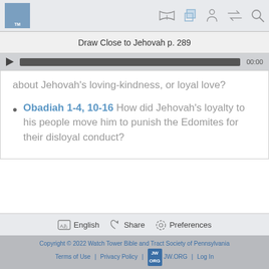Draw Close to Jehovah p. 289
about Jehovah's loving-kindness, or loyal love?
Obadiah 1-4, 10-16 How did Jehovah's loyalty to his people move him to punish the Edomites for their disloyal conduct?
English | Share | Preferences
Copyright © 2022 Watch Tower Bible and Tract Society of Pennsylvania
Terms of Use | Privacy Policy | JW.ORG | Log In